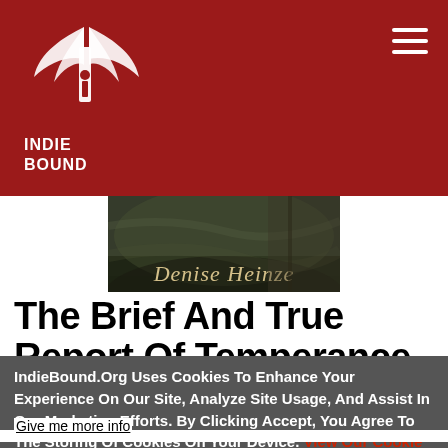IndieBound
[Figure (illustration): Book cover showing 'Denise Heinze' text over a dark atmospheric background image]
The Brief And True Report Of Temperance
IndieBound.Org Uses Cookies To Enhance Your Experience On Our Site, Analyze Site Usage, And Assist In Our Marketing Efforts. By Clicking Accept, You Agree To The Storing Of Cookies On Your Device. View Our Cookie Policy.
Give me more info